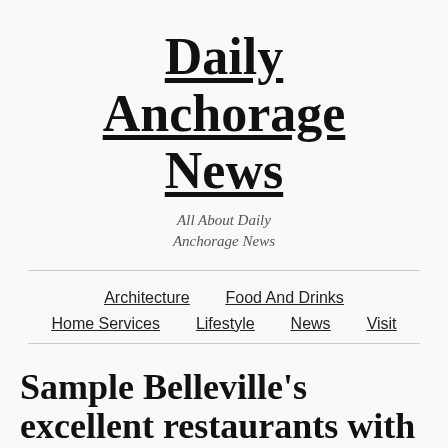Daily Anchorage News
All About Daily Anchorage News
Architecture  Food And Drinks  Home Services  Lifestyle  News  Visit
Sample Belleville's excellent restaurants with these bistros